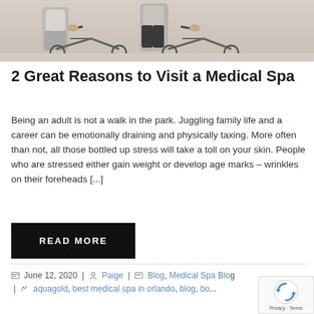[Figure (photo): Two people with bicycles at a beach or outdoor location, showing hands on bike handlebars]
2 Great Reasons to Visit a Medical Spa
Being an adult is not a walk in the park. Juggling family life and a career can be emotionally draining and physically taxing. More often than not, all those bottled up stress will take a toll on your skin. People who are stressed either gain weight or develop age marks – wrinkles on their foreheads [...]
READ MORE
June 12, 2020  |  Paige  |  Blog, Medical Spa Blog  |  aquagold, best medical spa in orlando, blog, bo...